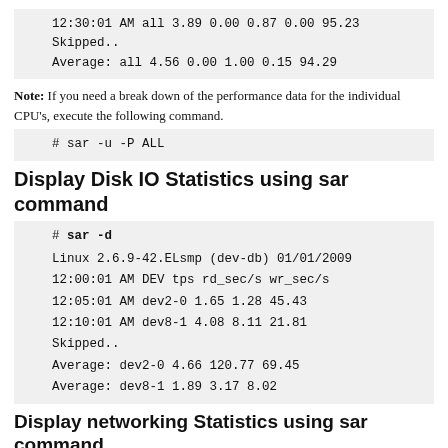12:30:01 AM all 3.89 0.00 0.87 0.00 95.23
Skipped..
Average: all 4.56 0.00 1.00 0.15 94.29
Note: If you need a break down of the performance data for the individual CPU's, execute the following command.
# sar -u -P ALL
Display Disk IO Statistics using sar command
# sar -d
Linux 2.6.9-42.ELsmp (dev-db) 01/01/2009
12:00:01 AM DEV tps rd_sec/s wr_sec/s
12:05:01 AM dev2-0 1.65 1.28 45.43
12:10:01 AM dev8-1 4.08 8.11 21.81
Skipped..
Average: dev2-0 4.66 120.77 69.45
Average: dev8-1 1.89 3.17 8.02
Display networking Statistics using sar command
# sar -n DEV | more
Linux 2.6.9-42.ELsmp (dev-db) 01/01/2009